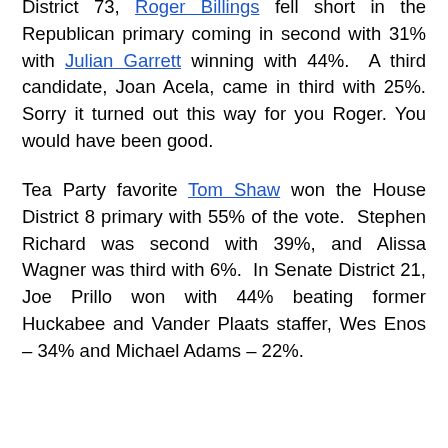District 73, Roger Billings fell short in the Republican primary coming in second with 31% with Julian Garrett winning with 44%. A third candidate, Joan Acela, came in third with 25%. Sorry it turned out this way for you Roger. You would have been good.
Tea Party favorite Tom Shaw won the House District 8 primary with 55% of the vote. Stephen Richard was second with 39%, and Alissa Wagner was third with 6%. In Senate District 21, Joe Prillo won with 44% beating former Huckabee and Vander Plaats staffer, Wes Enos – 34% and Michael Adams – 22%.